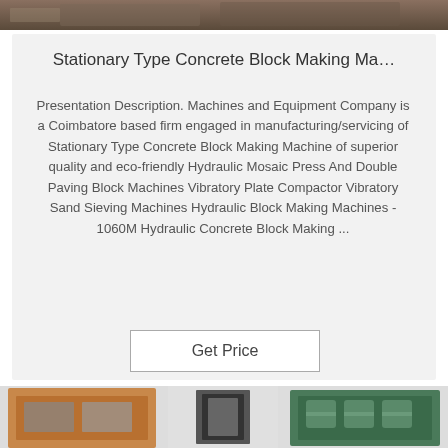[Figure (photo): Top portion of a machinery/equipment photo, partially cropped]
Stationary Type Concrete Block Making Ma…
Presentation Description. Machines and Equipment Company is a Coimbatore based firm engaged in manufacturing/servicing of Stationary Type Concrete Block Making Machine of superior quality and eco-friendly Hydraulic Mosaic Press And Double Paving Block Machines Vibratory Plate Compactor Vibratory Sand Sieving Machines Hydraulic Block Making Machines - 1060M Hydraulic Concrete Block Making ...
Get Price
[Figure (photo): Three product images of block making machines and molds at the bottom of the page]